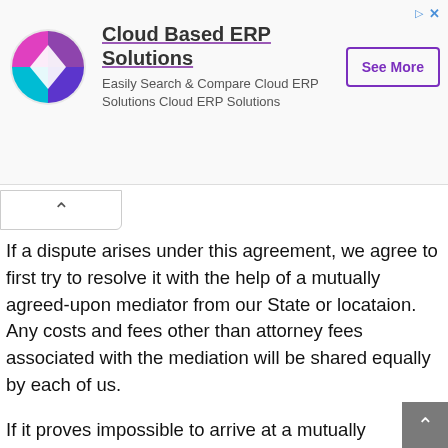[Figure (screenshot): Advertisement banner for Cloud Based ERP Solutions with logo, title, subtitle, and See More button]
If a dispute arises under this agreement, we agree to first try to resolve it with the help of a mutually agreed-upon mediator from our State or locataion. Any costs and fees other than attorney fees associated with the mediation will be shared equally by each of us.
If it proves impossible to arrive at a mutually satisfactory solution through mediation, we agree to submit the dispute to binding arbitration in our State or location, under the rules of the American Arbitration Association. Judgment upon the award rendered by the arbitration may be entered in any c with jurisdiction to do so.